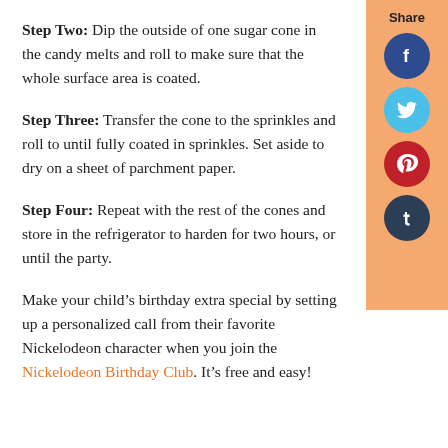Step Two: Dip the outside of one sugar cone in the candy melts and roll to make sure that the whole surface area is coated.
Step Three: Transfer the cone to the sprinkles and roll to until fully coated in sprinkles. Set aside to dry on a sheet of parchment paper.
Step Four: Repeat with the rest of the cones and store in the refrigerator to harden for two hours, or until the party.
Make your child’s birthday extra special by setting up a personalized call from their favorite Nickelodeon character when you join the Nickelodeon Birthday Club. It’s free and easy!
[Figure (infographic): Share sidebar with Facebook, Twitter, Pinterest, and Tumblr social media icon buttons on an orange background]